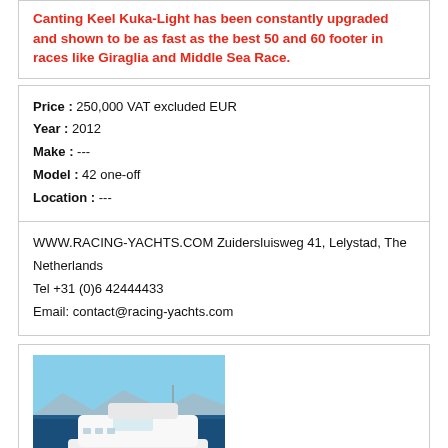Canting Keel Kuka-Light has been constantly upgraded and shown to be as fast as the best 50 and 60 footer in races like Giraglia and Middle Sea Race.
Price : 250,000 VAT excluded EUR
Year : 2012
Make : ---
Model : 42 one-off
Location : ---
WWW.RACING-YACHTS.COM Zuidersluisweg 41, Lelystad, The Netherlands
Tel +31 (0)6 42444433
Email: contact@racing-yachts.com
[Figure (photo): White luxury motor yacht sailing on dark blue water with mountains in background, clear blue sky]
OLA - San